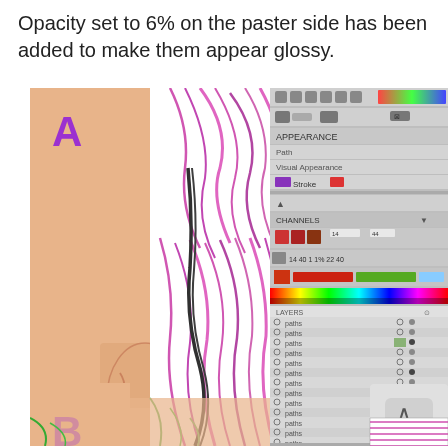Opacity set to 6% on the paster side has been added to make them appear glossy.
[Figure (screenshot): Screenshot of a digital illustration in progress showing a face/hair drawing with purple/pink brushwork on the left, and Adobe Illustrator or similar software panels on the right showing layers, color swatches, and tool options. The letter A in purple appears in the upper left of the artwork panel.]